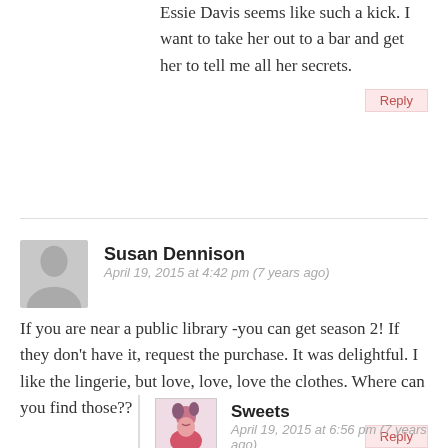Essie Davis seems like such a kick. I want to take her out to a bar and get her to tell me all her secrets.
Reply
Susan Dennison
April 19, 2015 at 4:42 pm (7 years ago)
If you are near a public library -you can get season 2! If they don't have it, request the purchase. It was delightful. I like the lingerie, but love, love, love the clothes. Where can you find those??
Reply
Sweets
April 19, 2015 at 6:56 pm (7 years ago)
Hi Susan! For 1920s-inspired fashions, I recommend checking out Unique